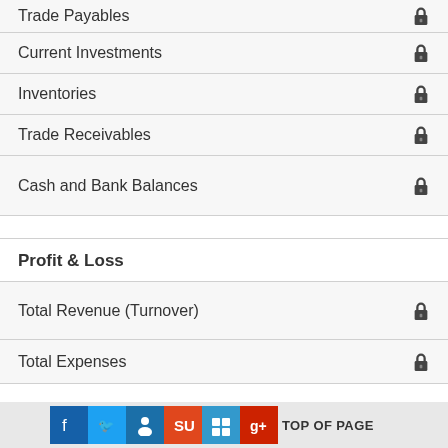Trade Payables
Current Investments
Inventories
Trade Receivables
Cash and Bank Balances
Profit & Loss
Total Revenue (Turnover)
Total Expenses
TOP OF PAGE